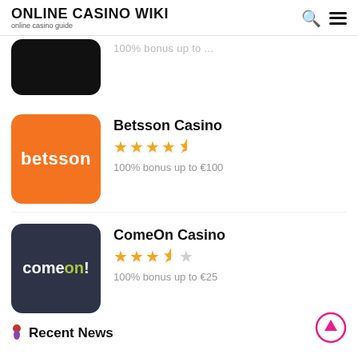ONLINE CASINO WIKI
online casino guide
[Figure (logo): Partially visible black casino logo with text '100% bonus up to ...']
[Figure (logo): Betsson Casino orange logo with 'betsson' text]
Betsson Casino
★★★★☆
100% bonus up to €100
[Figure (logo): ComeOn Casino dark logo with 'comeon!' text]
ComeOn Casino
★★★½☆
100% bonus up to €25
Recent News